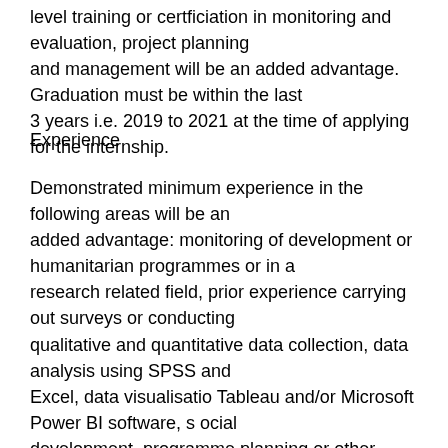level training or certficiation in monitoring and evaluation, project planning and management will be an added advantage. Graduation must be within the last 3 years i.e. 2019 to 2021 at the time of applying for the internship.
Experience
Demonstrated minimum experience in the following areas will be an added advantage: monitoring of development or humanitarian programmes or in a research related field, prior experience carrying out surveys or conducting qualitative and quantitative data collection, data analysis using SPSS and Excel, data visualisatio Tableau and/or Microsoft Power BI software, s ocial development, programme planning or other related areas. Excellent oral and written communication skills in English and Karimojong languages and inter-